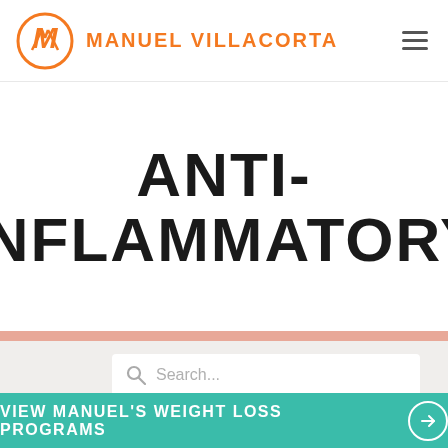MANUEL VILLACORTA
ANTI-INFLAMMATORY
Search...
VIEW MANUEL'S WEIGHT LOSS PROGRAMS